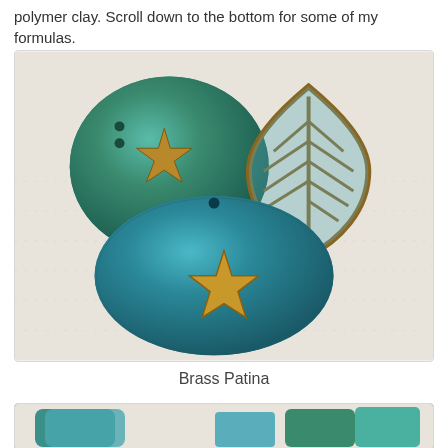polymer clay. Scroll down to the bottom for some of my formulas.
[Figure (photo): Two oval teal/turquoise polymer clay pendants with raised gold starfish designs, and a brass filigree leaf shape, all showing a brass patina effect, photographed on a dotted white surface.]
Brass Patina
[Figure (photo): Bottom portion of another set of teal and brass patina polymer clay pieces partially visible.]